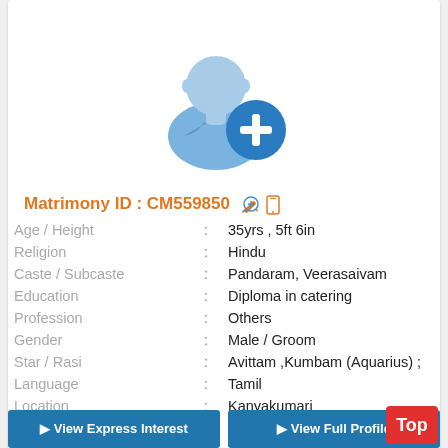[Figure (illustration): Generic male silhouette avatar in blue with a blue circle containing a white plus sign in the bottom right corner]
Matrimony ID : CM559850
| Age / Height | : | 35yrs , 5ft 6in |
| Religion | : | Hindu |
| Caste / Subcaste | : | Pandaram, Veerasaivam |
| Education | : | Diploma in catering |
| Profession | : | Others |
| Gender | : | Male / Groom |
| Star / Rasi | : | Avittam ,Kumbam (Aquarius) ; |
| Language | : | Tamil |
| Location | : | Kanyakumari |
| District | : | Kanyakumari |
| State | : | Tamil Nadu |
| Country | : | India |